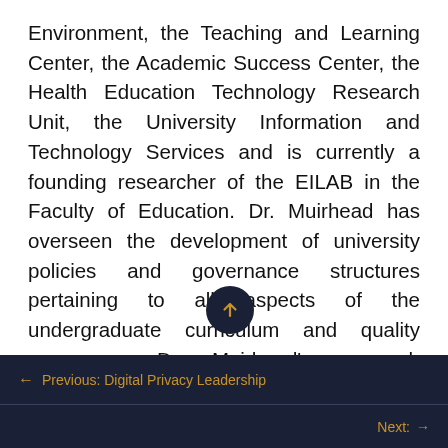Environment, the Teaching and Learning Center, the Academic Success Center, the Health Education Technology Research Unit, the University Information and Technology Services and is currently a founding researcher of the EILAB in the Faculty of Education. Dr. Muirhead has overseen the development of university policies and governance structures pertaining to all aspects of the undergraduate curriculum and quality assurance. Dr. Muirhead's research interests included professional practices in online education; design of hybrid learning environments; policy support for developing and implementing learning object repositories; and the development and management
← Previous: Digital Privacy Leadership
Next: →